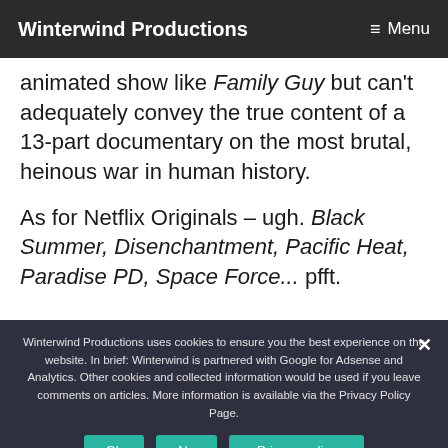Winterwind Productions  ≡ Menu
animated show like Family Guy but can't adequately convey the true content of a 13-part documentary on the most brutal, heinous war in human history.
As for Netflix Originals – ugh. Black Summer, Disenchantment, Pacific Heat, Paradise PD, Space Force... pfft.
Winterwind Productions uses cookies to ensure you the best experience on the website. In brief: Winterwind is partnered with Google for Adsense and Analytics. Other cookies and collected information would be used if you leave comments on articles. More information is available via the Privacy Policy Page.